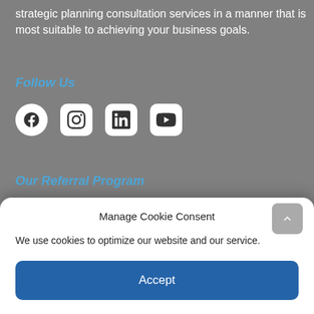strategic planning consultation services in a manner that is most suitable to achieving your business goals.
Follow Us
[Figure (infographic): Social media icons: Facebook (circle), Instagram (square rounded), LinkedIn (square rounded), YouTube (square rounded)]
Our Referral Program
You can get a $10 Starbucks gift card for referring your friends and family! Find out more here or call us at
Manage Cookie Consent
We use cookies to optimize our website and our service.
Accept